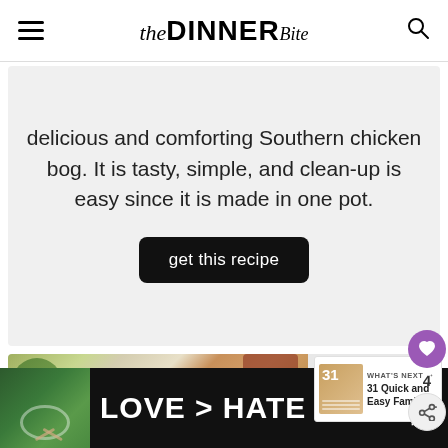The DINNER Bite
delicious and comforting Southern chicken bog. It is tasty, simple, and clean-up is easy since it is made in one pot.
get this recipe
[Figure (photo): Food photo showing a bowl of chicken bog rice dish on a marble surface with garnishes]
WHAT'S NEXT → 31 Quick and Easy Family...
[Figure (photo): Bottom advertisement banner showing LOVE > HATE with hands forming a heart shape]